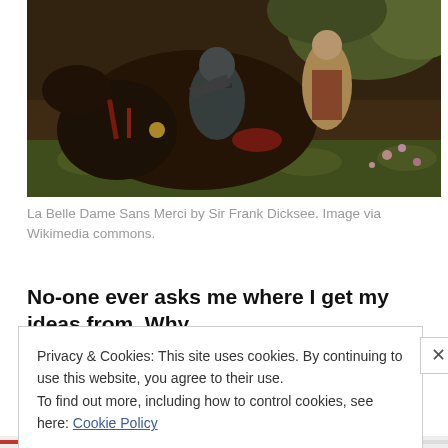[Figure (illustration): Painting of a knight in armour on a dark horse with a woman, in a floral meadow setting. La Belle Dame Sans Merci by Sir Frank Dicksee.]
La Belle Dame Sans Merci by Sir Frank Dicksee. Image via Wikimedia commons.
No-one ever asks me where I get my ideas from. Why
Privacy & Cookies: This site uses cookies. By continuing to use this website, you agree to their use.
To find out more, including how to control cookies, see here: Cookie Policy

Close and accept